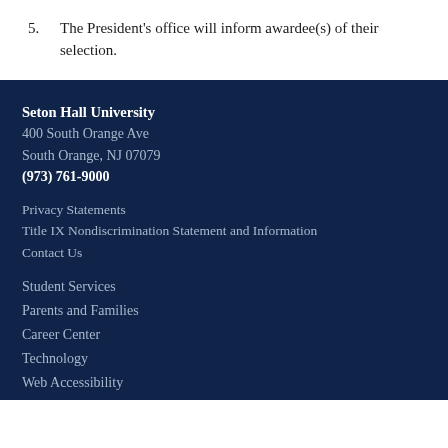5. The President's office will inform awardee(s) of their selection.
Seton Hall University
400 South Orange Ave
South Orange, NJ 07079
(973) 761-9000
Privacy Statements
Title IX Nondiscrimination Statement and Information
Contact Us
Student Services
Parents and Families
Career Center
Technology
Web Accessibility